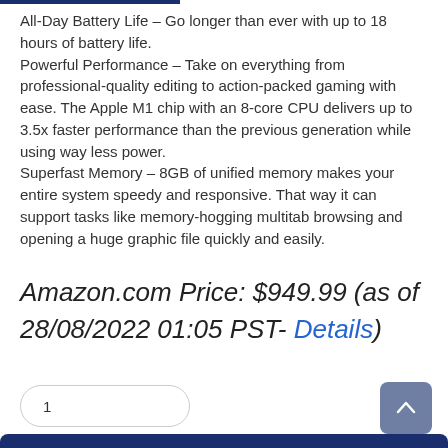All-Day Battery Life – Go longer than ever with up to 18 hours of battery life.
Powerful Performance – Take on everything from professional-quality editing to action-packed gaming with ease. The Apple M1 chip with an 8-core CPU delivers up to 3.5x faster performance than the previous generation while using way less power.
Superfast Memory – 8GB of unified memory makes your entire system speedy and responsive. That way it can support tasks like memory-hogging multitab browsing and opening a huge graphic file quickly and easily.
Amazon.com Price: $949.99 (as of 28/08/2022 01:05 PST- Details)
1